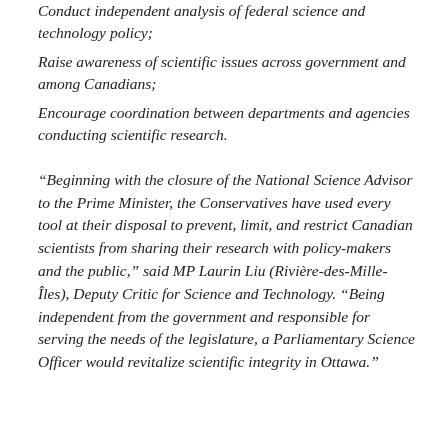Conduct independent analysis of federal science and technology policy;
Raise awareness of scientific issues across government and among Canadians;
Encourage coordination between departments and agencies conducting scientific research.
“Beginning with the closure of the National Science Advisor to the Prime Minister, the Conservatives have used every tool at their disposal to prevent, limit, and restrict Canadian scientists from sharing their research with policy-makers and the public,” said MP Laurin Liu (Rivière-des-Mille-Îles), Deputy Critic for Science and Technology. “Being independent from the government and responsible for serving the needs of the legislature, a Parliamentary Science Officer would revitalize scientific integrity in Ottawa.”